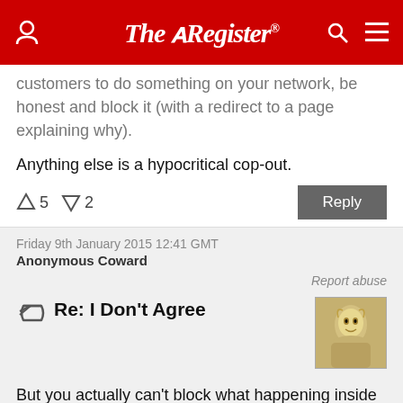The Register
customers to do something on your network, be honest and block it (with a redirect to a page explaining why).
Anything else is a hypocritical cop-out.
↑5  ↓2   Reply
Friday 9th January 2015 12:41 GMT
Anonymous Coward
Report abuse
Re: I Don't Agree
But you actually can't block what happening inside an SSL packet without decrypting the SSL.
If I setup an SSL server in my house, that's a SOCKS proxy, then use that on my laptop to stream video from various video streaming sites, how do you block that on a plane, without rate limiting traffic, or decrypting the SSL? Those are your two